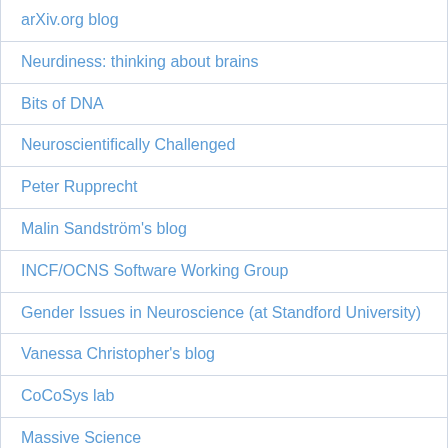arXiv.org blog
Neurdiness: thinking about brains
Bits of DNA
Neuroscientifically Challenged
Peter Rupprecht
Malin Sandström's blog
INCF/OCNS Software Working Group
Gender Issues in Neuroscience (at Standford University)
Vanessa Christopher's blog
CoCoSys lab
Massive Science